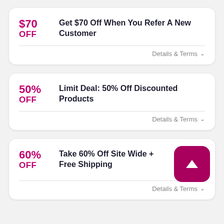$70 OFF — Get $70 Off When You Refer A New Customer — Details & Terms
50% OFF — Limit Deal: 50% Off Discounted Products — Details & Terms
60% OFF — Take 60% Off Site Wide + Free Shipping — Details & Terms